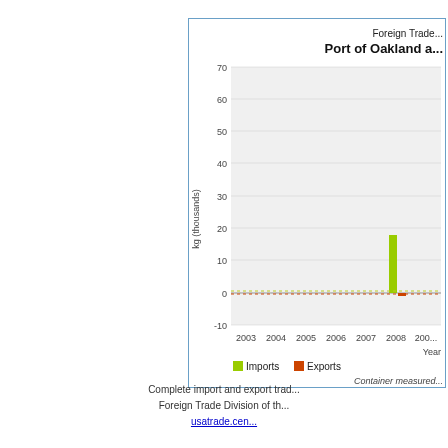[Figure (grouped-bar-chart): Foreign Trade - Port of Oakland a...]
Complete import and export trad... Foreign Trade Division of th... usatrade.cen...